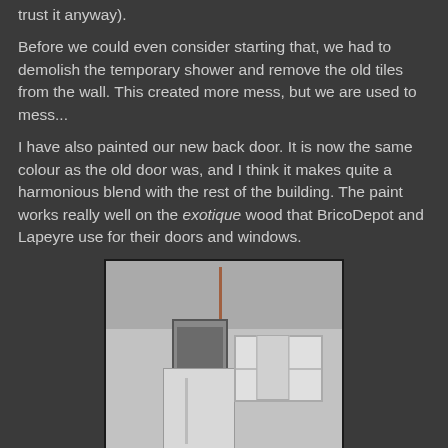trust it anyway).
Before we could even consider starting that, we had to demolish the temporary shower and remove the old tiles from the wall. This created more mess, but we are used to mess...
I have also painted our new back door. It is now the same colour as the old door was, and I think it makes quite a harmonious blend with the rest of the building. The paint works really well on the exotique wood that BricoDepot and Lapeyre use for their doors and windows.
[Figure (photo): Exterior photo of a stone building showing a white painted back door/gate and a window with shutters, old stone walls visible in the background, pipes on the wall.]